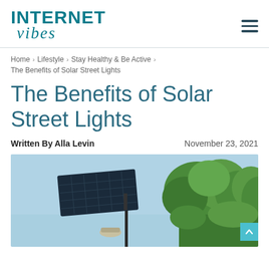INTERNET vibes
Home › Lifestyle › Stay Healthy & Be Active › The Benefits of Solar Street Lights
The Benefits of Solar Street Lights
Written By Alla Levin    November 23, 2021
[Figure (photo): Solar street light pole with a large solar panel on top and a lamp at the bottom, against a blue sky with green trees in the background.]